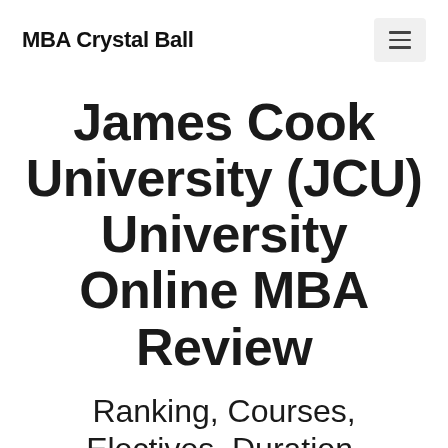MBA Crystal Ball
James Cook University (JCU) University Online MBA Review
Ranking, Courses, Electives, Duration,